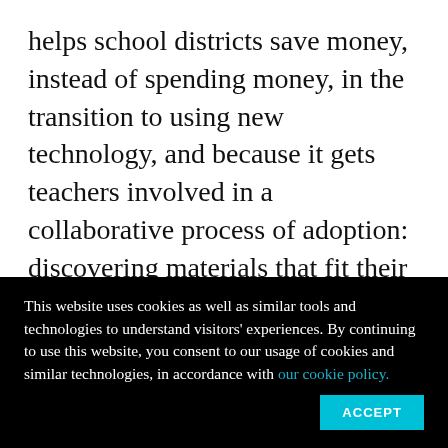helps school districts save money, instead of spending money, in the transition to using new technology, and because it gets teachers involved in a collaborative process of adoption: discovering materials that fit their students' needs and altering them when they don't. This compares favorably to what I know of the current procurement model, where administrators and district-level employees make most of the top-level decisions about
This website uses cookies as well as similar tools and technologies to understand visitors' experiences. By continuing to use this website, you consent to our usage of cookies and similar technologies, in accordance with our cookie policy.